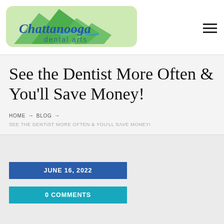[Figure (logo): Chattanooga Dental Arts logo with green mountain illustration and blue script text]
See the Dentist More Often & You'll Save Money!
HOME → BLOG → SEE THE DENTIST MORE OFTEN & YOU'LL SAVE MONEY!
JUNE 16, 2022
0 COMMENTS